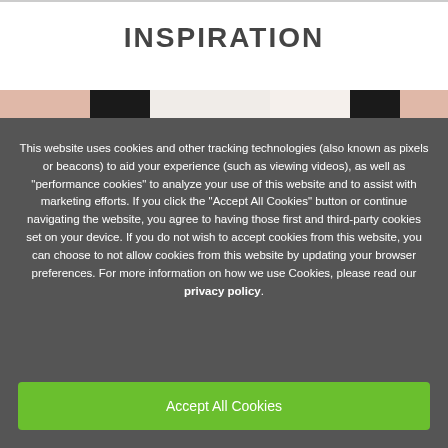INSPIRATION
[Figure (photo): Partial view of a photo strip showing what appears to be fashion or beauty images, cropped by cookie consent overlay]
This website uses cookies and other tracking technologies (also known as pixels or beacons) to aid your experience (such as viewing videos), as well as "performance cookies" to analyze your use of this website and to assist with marketing efforts. If you click the "Accept All Cookies" button or continue navigating the website, you agree to having those first and third-party cookies set on your device. If you do not wish to accept cookies from this website, you can choose to not allow cookies from this website by updating your browser preferences. For more information on how we use Cookies, please read our privacy policy.
Accept All Cookies